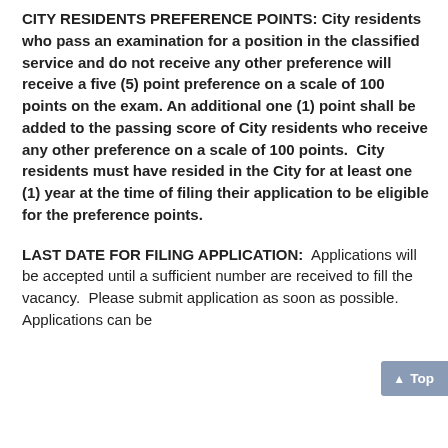CITY RESIDENTS PREFERENCE POINTS: City residents who pass an examination for a position in the classified service and do not receive any other preference will receive a five (5) point preference on a scale of 100 points on the exam. An additional one (1) point shall be added to the passing score of City residents who receive any other preference on a scale of 100 points. City residents must have resided in the City for at least one (1) year at the time of filing their application to be eligible for the preference points.
LAST DATE FOR FILING APPLICATION: Applications will be accepted until a sufficient number are received to fill the vacancy. Please submit application as soon as possible. Applications can be